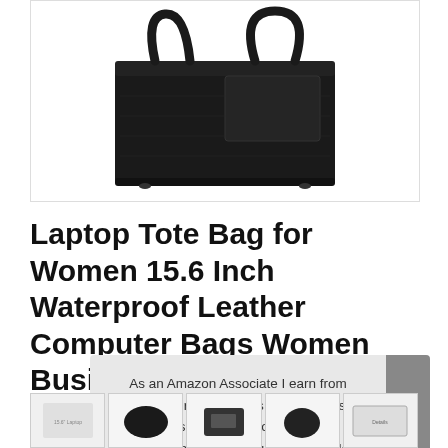[Figure (photo): Black leather laptop tote bag for women, shown from front/side angle on white background]
Laptop Tote Bag for Women 15.6 Inch Waterproof Leather Computer Bags Women Business Office Work Bag Briefcase Black
#ad
As an Amazon Associate I earn from qualifying purchases. This website uses the only necessary cookies to ensure you get the best experience on our website. More information
[Figure (photo): Thumbnail strip of related product images]